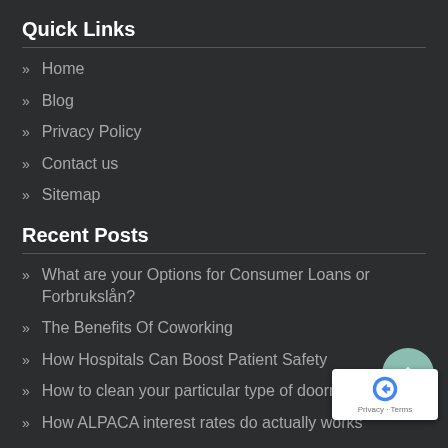Quick Links
Home
Blog
Privacy Policy
Contact us
Sitemap
Recent Posts
What are your Options for Consumer Loans or Forbrukslån?
The Benefits Of Coworking
How Hospitals Can Boost Patient Safety
How to clean your particular type of doormat
How ALPACA interest rates do actually works